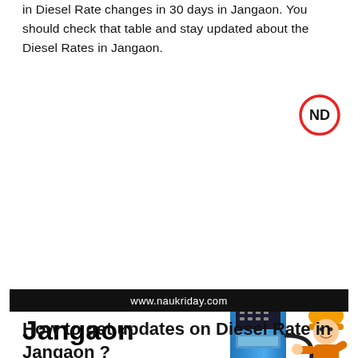in Diesel Rate changes in 30 days in Jangaon. You should check that table and stay updated about the Diesel Rates in Jangaon.
[Figure (logo): ND logo — circle with ND initials and a no-entry style red border]
[Figure (illustration): Diesel Price in Jangaon — bold title text alongside an illustration of a blue fuel pump with a cartoon worker in orange hard hat and overalls]
[Figure (other): Black banner bar with white text: www.naukriday.com]
How to get updates on Diesel Rate in Jangaon ?